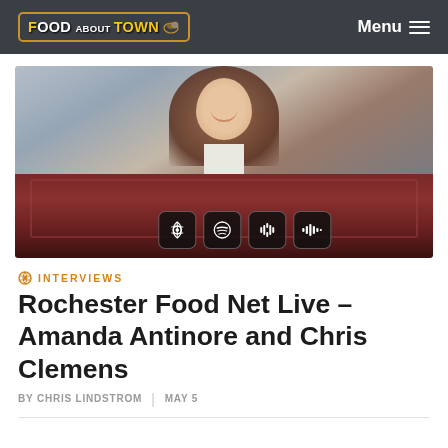FOOD ABOUT TOWN | Menu
[Figure (photo): Woman smiling in a grey blazer over white shirt, with podcast platform icons (Apple Podcasts, Spotify, Google Podcasts, Stitcher) overlaid on the lower portion of a composite image]
INTERVIEWS
Rochester Food Net Live – Amanda Antinore and Chris Clemens
BY CHRIS LINDSTROM  |  MAY 5